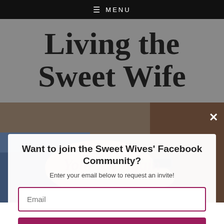≡ MENU
Living the Sweet Wife
[Figure (photo): Close-up photo of two people holding hands, one wearing a watch and dark clothing, the other with lighter skin, suggesting a couple.]
Yourself Again
Want to join the Sweet Wives' Facebook Community?
Enter your email below to request an invite!
Email
HECK YEAH!